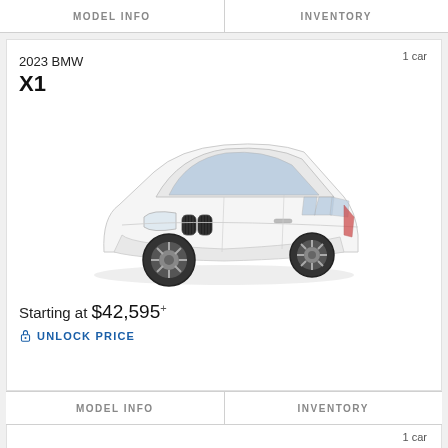MODEL INFO    INVENTORY
1 car
2023 BMW
X1
[Figure (photo): White 2023 BMW X1 SUV shown in 3/4 front view on white background]
Starting at $42,595+
UNLOCK PRICE
MODEL INFO    INVENTORY
1 car